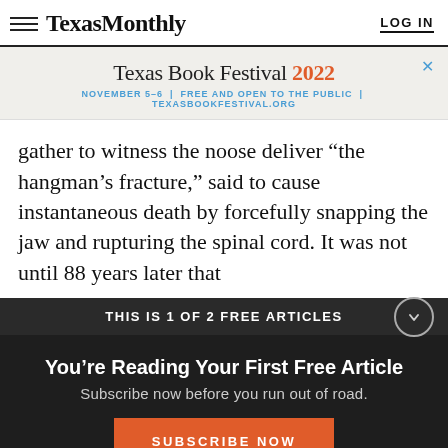Texas Monthly | LOG IN
[Figure (infographic): Texas Book Festival 2022 advertisement banner. Text: Texas Book Festival 2022. NOVEMBER 5-6 | FREE AND OPEN TO THE PUBLIC | TEXASBOOKFESTIVAL.ORG. Blue X close button.]
gather to witness the noose deliver “the hangman’s fracture,” said to cause instantaneous death by forcefully snapping the jaw and rupturing the spinal cord. It was not until 88 years later that
THIS IS 1 OF 2 FREE ARTICLES
You’re Reading Your First Free Article
Subscribe now before you run out of road.
SUBSCRIBE NOW
Already a subscriber? Log in